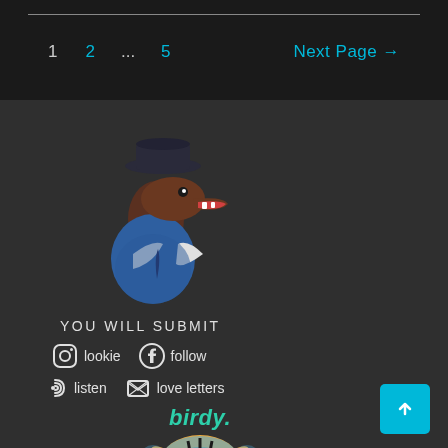1  2  ...  5  Next Page →
[Figure (illustration): Cartoon dinosaur (raptor) wearing a blue jacket and hat, viewed from the side with mouth open]
YOU WILL SUBMIT
lookie (Instagram icon)  follow (Facebook icon)
listen (WiFi icon)  love letters (envelope icon)
[Figure (logo): birdy. logo in teal/cyan italic text above a colorful tiger face illustration]